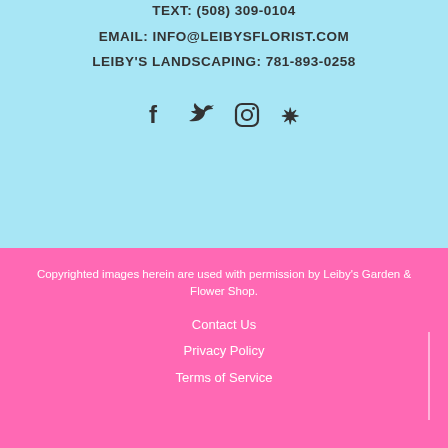TEXT: (508) 309-0104
EMAIL: INFO@LEIBYSFLORIST.COM
LEIBY'S LANDSCAPING: 781-893-0258
[Figure (illustration): Social media icons: Facebook, Twitter, Instagram, Yelp]
Copyrighted images herein are used with permission by Leiby's Garden & Flower Shop.
Contact Us
Privacy Policy
Terms of Service